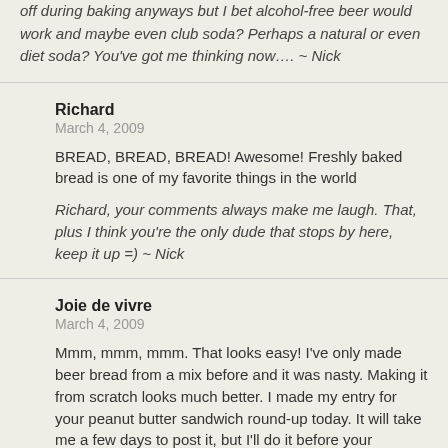off during baking anyways but I bet alcohol-free beer would work and maybe even club soda? Perhaps a natural or even diet soda? You've got me thinking now…. ~ Nick
Richard
March 4, 2009
BREAD, BREAD, BREAD! Awesome! Freshly baked bread is one of my favorite things in the world
Richard, your comments always make me laugh. That, plus I think you're the only dude that stops by here, keep it up =) ~ Nick
Joie de vivre
March 4, 2009
Mmm, mmm, mmm. That looks easy! I've only made beer bread from a mix before and it was nasty. Making it from scratch looks much better. I made my entry for your peanut butter sandwich round-up today. It will take me a few days to post it, but I'll do it before your deadline!
This is almost as easy as a mix and 10x better! Can't wait to see the entry! ~ Nick